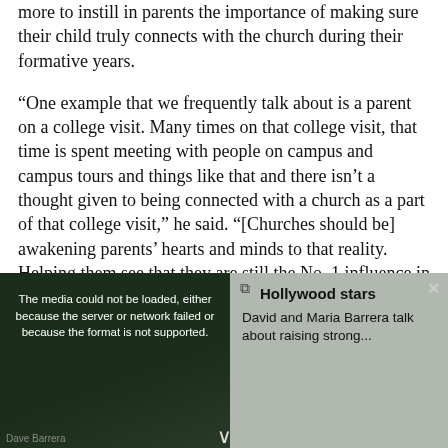more to instill in parents the importance of making sure their child truly connects with the church during their formative years.
“One example that we frequently talk about is a parent on a college visit. Many times on that college visit, that time is spent meeting with people on campus and campus tours and things like that and there isn’t a thought given to being connected with a church as a part of that college visit,” he said. “[Churches should be] awakening parents’ hearts and minds to that reality. Helping them see that they are still the No. 1 influence in their child’s life.”
Part of the issue, Trueblood said, lies in the fact that faith and spirituality do not play a large role in the lives of parents outside the church. Among young adults who were active in church as high school students, only 49 percent indicated to LifeWay that their parents “genuinely liked church.”
Additionally, only 27 percent of them said that their family
[Figure (screenshot): Video player overlay showing a media error message: 'The media could not be loaded, either because the server or network failed or because the format is not supported.' with a thumbnail of two people and a sidebar showing 'Hollywood stars David and Maria Barrera talk about raising strong...']